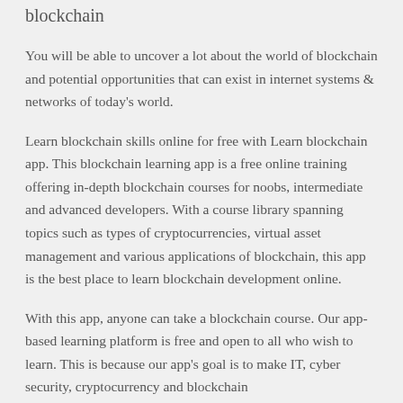blockchain
You will be able to uncover a lot about the world of blockchain and potential opportunities that can exist in internet systems & networks of today's world.
Learn blockchain skills online for free with Learn blockchain app. This blockchain learning app is a free online training offering in-depth blockchain courses for noobs, intermediate and advanced developers. With a course library spanning topics such as types of cryptocurrencies, virtual asset management and various applications of blockchain, this app is the best place to learn blockchain development online.
With this app, anyone can take a blockchain course. Our app-based learning platform is free and open to all who wish to learn. This is because our app's goal is to make IT, cyber security, cryptocurrency and blockchain